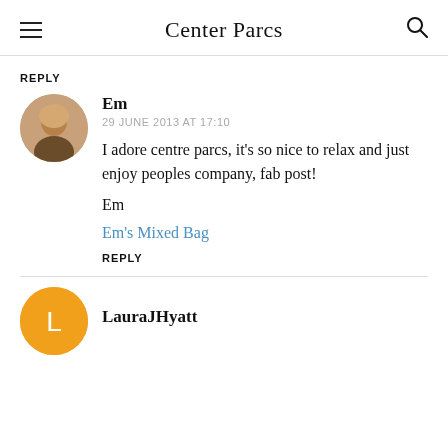Center Parcs
REPLY
Em
29 JUNE 2013 AT 17:10
I adore centre parcs, it's so nice to relax and just enjoy peoples company, fab post!
Em
Em's Mixed Bag
REPLY
LauraJHyatt